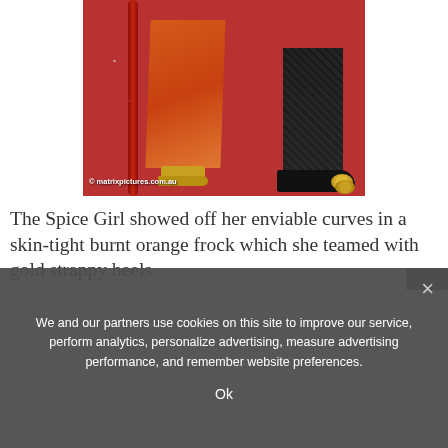[Figure (photo): Close-up photo of feet on a red carpet. A person in an orange/burnt-orange dress wearing gold strappy heels is visible on the left, and a person in dark patterned trousers wearing black shoes with gold toe caps is on the right. A red rope barrier is partially visible. Watermark reads '© matrixpictures.com.au'.]
The Spice Girl showed off her enviable curves in a skin-tight burnt orange frock which she teamed with gold strappy heels
We and our partners use cookies on this site to improve our service, perform analytics, personalize advertising, measure advertising performance, and remember website preferences.
Ok